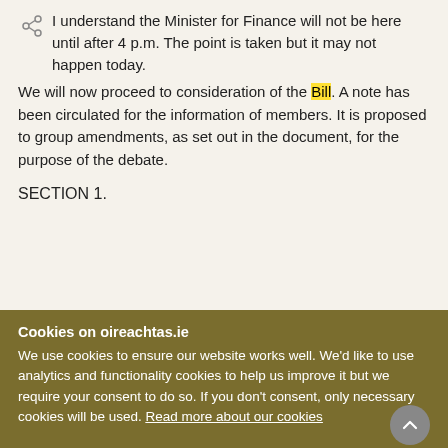I understand the Minister for Finance will not be here until after 4 p.m. The point is taken but it may not happen today.
We will now proceed to consideration of the Bill. A note has been circulated for the information of members. It is proposed to group amendments, as set out in the document, for the purpose of the debate.
SECTION 1.
Cookies on oireachtas.ie
We use cookies to ensure our website works well. We'd like to use analytics and functionality cookies to help us improve it but we require your consent to do so. If you don't consent, only necessary cookies will be used. Read more about our cookies
Manage cookies
Accept all cookies